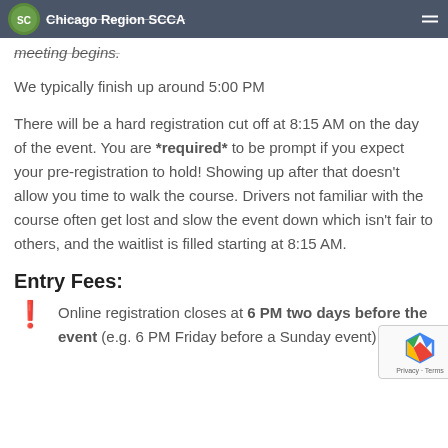Chicago Region SCCA
meeting begins.
We typically finish up around 5:00 PM
There will be a hard registration cut off at 8:15 AM on the day of the event. You are *required* to be prompt if you expect your pre-registration to hold! Showing up after that doesn't allow you time to walk the course. Drivers not familiar with the course often get lost and slow the event down which isn't fair to others, and the waitlist is filled starting at 8:15 AM.
Entry Fees:
Online registration closes at 6 PM two days before the event (e.g. 6 PM Friday before a Sunday event)